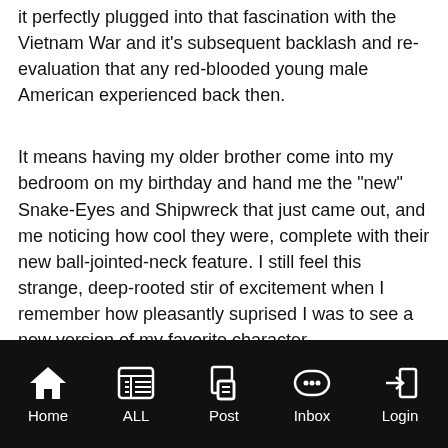it perfectly plugged into that fascination with the Vietnam War and it's subsequent backlash and re-evaluation that any red-blooded young male American experienced back then.
It means having my older brother come into my bedroom on my birthday and hand me the "new" Snake-Eyes and Shipwreck that just came out, and me noticing how cool they were, complete with their new ball-jointed-neck feature. I still feel this strange, deep-rooted stir of excitement when I remember how pleasantly suprised I was to see a new version of my favorite character...
It means crying my eyes out when I admitted to my brother that I traded my beloved Version 2 Snake-Eyes, among others, to a friend who had talked me into making a trade I didn't really want to make.
Home  ALL  Post  Inbox  Login